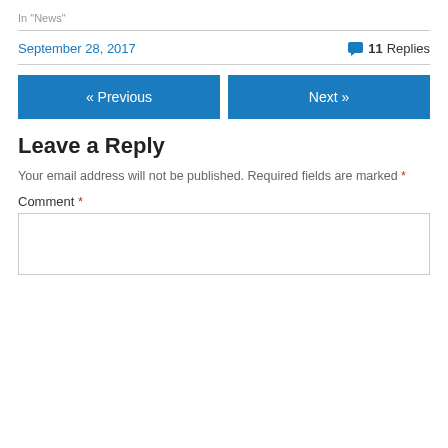In "News"
September 28, 2017    💬 11 Replies
« Previous   Next »
Leave a Reply
Your email address will not be published. Required fields are marked *
Comment *